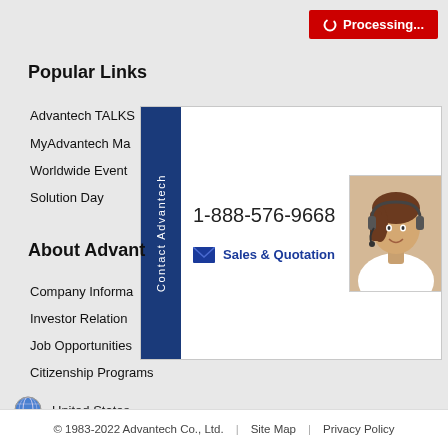Processing...
Popular Links
Advantech TALKS
MyAdvantech Ma...
Worldwide Event...
Solution Day
Contact Advantech
1-888-576-9668
Sales & Quotation
[Figure (photo): Customer service representative with headset]
About Advantech
Company Informa...
Investor Relation...
Job Opportunities
Citizenship Programs
United States
© 1983-2022 Advantech Co., Ltd.  |  Site Map  |  Privacy Policy